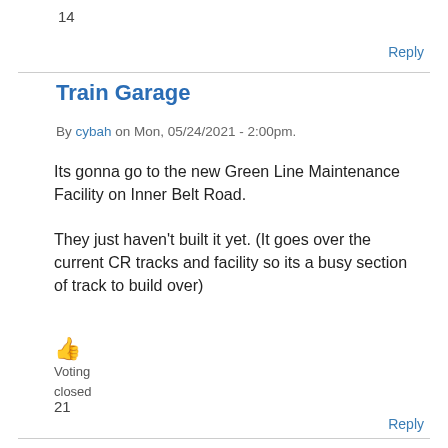14
Reply
Train Garage
By cybah on Mon, 05/24/2021 - 2:00pm.
Its gonna go to the new Green Line Maintenance Facility on Inner Belt Road.
They just haven't built it yet. (It goes over the current CR tracks and facility so its a busy section of track to build over)
👍 Voting closed 21
Reply
VE'd from current construction